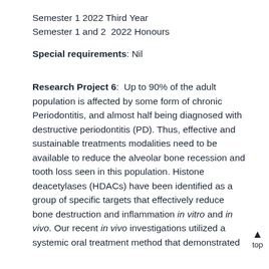Semester 1 2022 Third Year
Semester 1 and 2  2022 Honours
Special requirements: Nil
Research Project 6:  Up to 90% of the adult population is affected by some form of chronic Periodontitis, and almost half being diagnosed with destructive periodontitis (PD). Thus, effective and sustainable treatments modalities need to be available to reduce the alveolar bone recession and tooth loss seen in this population. Histone deacetylases (HDACs) have been identified as a group of specific targets that effectively reduce bone destruction and inflammation in vitro and in vivo. Our recent in vivo investigations utilized a systemic oral treatment method that demonstrated